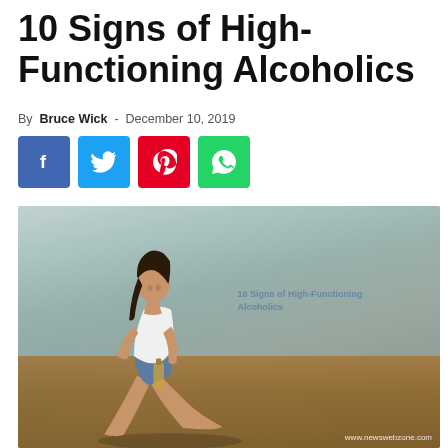10 Signs of High-Functioning Alcoholics
By Bruce Wick - December 10, 2019
[Figure (other): Four social media share buttons: Facebook (blue), Twitter (light blue), Pinterest (red), WhatsApp (green)]
[Figure (photo): Young woman in white crop top and denim shorts sitting on a wooden floor against a patterned wall, holding a bottle of alcohol. Overlaid text reads '10 Signs of High-Functioning Alcoholics'. Watermark: www.newswebzone.com]